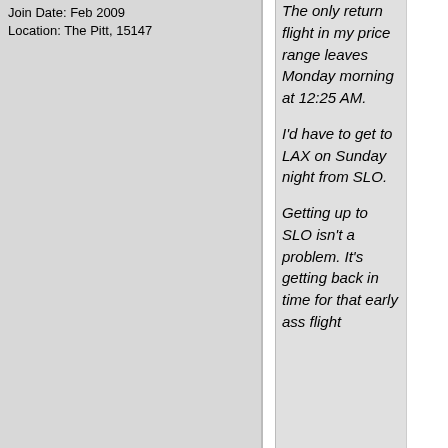Join Date: Feb 2009
Location: The Pitt, 15147
The only return flight in my price range leaves Monday morning at 12:25 AM.

I'd have to get to LAX on Sunday night from SLO.

Getting up to SLO isn't a problem. It's getting back in time for that early ass flight